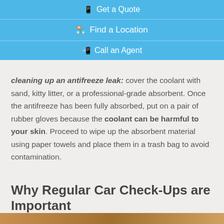Get a Quote
Find a Location
Call an Agent
cleaning up an antifreeze leak: cover the coolant with sand, kitty litter, or a professional-grade absorbent. Once the antifreeze has been fully absorbed, put on a pair of rubber gloves because the coolant can be harmful to your skin. Proceed to wipe up the absorbent material using paper towels and place them in a trash bag to avoid contamination.
Why Regular Car Check-Ups are Important
[Figure (photo): Partial image strip at bottom of page, likely a car-related photograph]